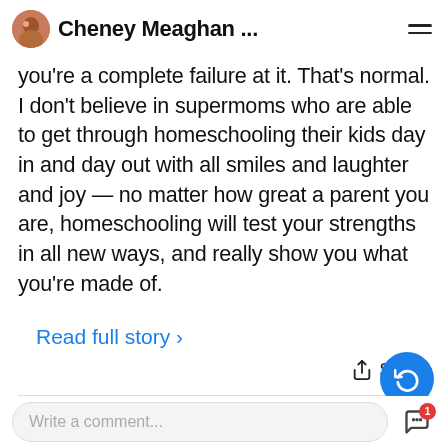Cheney Meaghan ...
you're a complete failure at it. That's normal. I don't believe in supermoms who are able to get through homeschooling their kids day in and day out with all smiles and laughter and joy — no matter how great a parent you are, homeschooling will test your strengths in all new ways, and really show you what you're made of.
Read full story >
Share
2021-03-08
Write a comment...